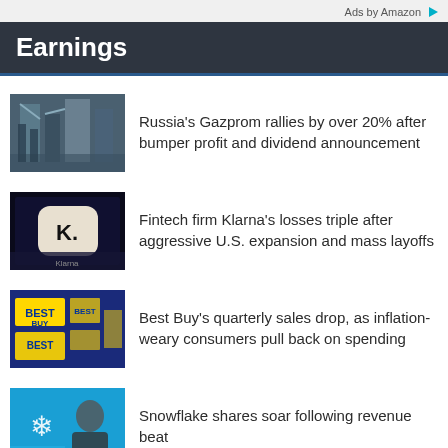Ads by Amazon
Earnings
[Figure (photo): Industrial/pipeline infrastructure image for Gazprom article]
Russia's Gazprom rallies by over 20% after bumper profit and dividend announcement
[Figure (photo): Klarna logo on dark background for fintech article]
Fintech firm Klarna's losses triple after aggressive U.S. expansion and mass layoffs
[Figure (photo): Best Buy store signage image]
Best Buy's quarterly sales drop, as inflation-weary consumers pull back on spending
[Figure (photo): Snowflake logo with person in background]
Snowflake shares soar following revenue beat